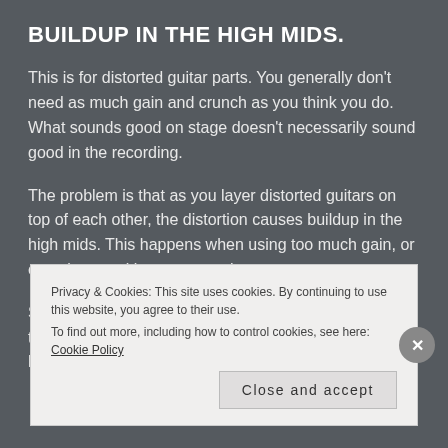BUILDUP IN THE HIGH MIDS.
This is for distorted guitar parts. You generally don't need as much gain and crunch as you think you do. What sounds good on stage doesn't necessarily sound good in the recording.
The problem is that as you layer distorted guitars on top of each other, the distortion causes buildup in the high mids. This happens when using too much gain, or even just stacking too many layers.
So try dialing it back. Use less distortion in the studio than you would on stage. You might be surprised at how full and powerful
Privacy & Cookies: This site uses cookies. By continuing to use this website, you agree to their use.
To find out more, including how to control cookies, see here: Cookie Policy
Close and accept